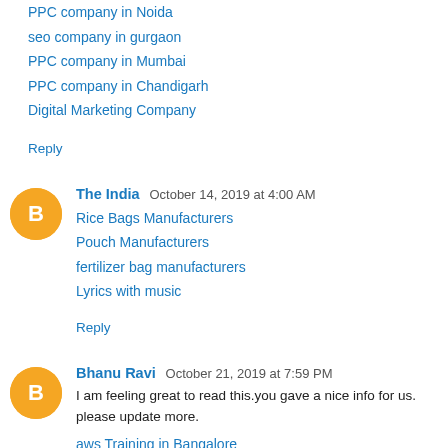PPC company in Noida
seo company in gurgaon
PPC company in Mumbai
PPC company in Chandigarh
Digital Marketing Company
Reply
The India  October 14, 2019 at 4:00 AM
Rice Bags Manufacturers
Pouch Manufacturers
fertilizer bag manufacturers
Lyrics with music
Reply
Bhanu Ravi  October 21, 2019 at 7:59 PM
I am feeling great to read this.you gave a nice info for us. please update more.
aws Training in Bangalore
python Training in Bangalore